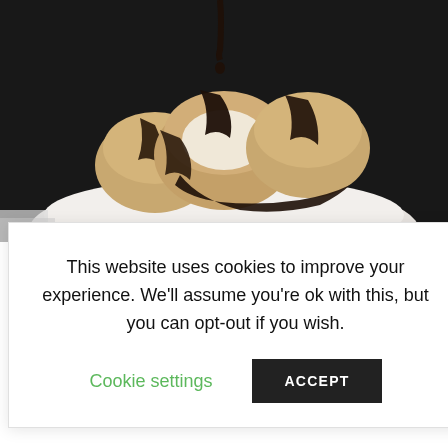[Figure (photo): Photograph of cream puffs/profiteroles stacked on a white plate, drizzled with chocolate sauce, against a dark/black background.]
ench cuisine. It
try cream,
overed with a
"chocolate
This website uses cookies to improve your experience. We’ll assume you’re ok with this, but you can opt-out if you wish.
Cookie settings
ACCEPT